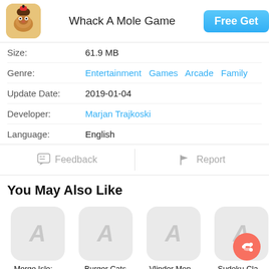Whack A Mole Game
| Size: | 61.9 MB |
| Genre: | Entertainment  Games  Arcade  Family |
| Update Date: | 2019-01-04 |
| Developer: | Marjan Trajkoski |
| Language: | English |
Feedback   Report
You May Also Like
[Figure (screenshot): Four app thumbnails: Merge Isle: ... (Hour Games ...), Burger Cats (HyperBeard Inc.), Vlinder Mon... (DAN SU), Sudoku Cla... (□□□)]